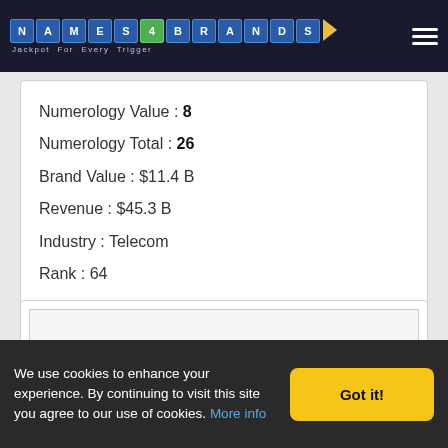NAMES4BRANDS — Jackpot For Every Trigger
Numerology Value : 8
Numerology Total : 26
Brand Value : $11.4 B
Revenue : $45.3 B
Industry : Telecom
Rank : 64
[Figure (other): Advertisement placeholder box]
We use cookies to enhance your experience. By continuing to visit this site you agree to our use of cookies. More info